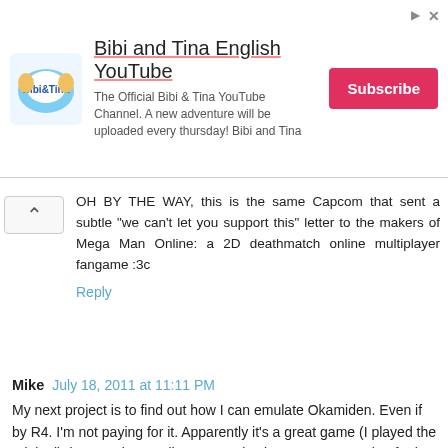[Figure (other): Advertisement banner for Bibi and Tina English YouTube channel with logo, text, and Subscribe button]
OH BY THE WAY, this is the same Capcom that sent a subtle "we can't let you support this" letter to the makers of Mega Man Online: a 2D deathmatch online multiplayer fangame :3c
Reply
Mike  July 18, 2011 at 11:11 PM
My next project is to find out how I can emulate Okamiden. Even if by R4. I'm not paying for it. Apparently it's a great game (I played the original), hence why I really want to play it. But I'm not paying for it. I WANT to steal it.
Reply
shayno-mack  July 18, 2011 at 11:17 PM